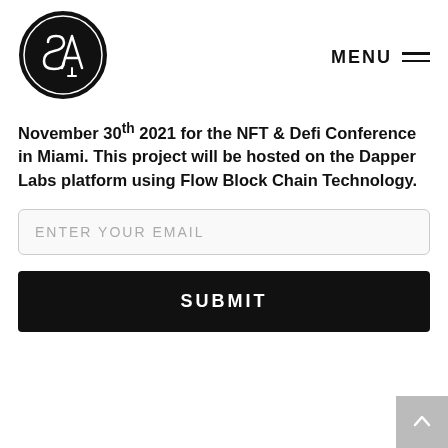[Figure (logo): Circular black logo with stylized 'SA' letters in white on black background]
MENU
November 30th 2021 for the NFT & Defi Conference in Miami. This project will be hosted on the Dapper Labs platform using Flow Block Chain Technology.
ENTER YOUR EMAIL
SUBMIT